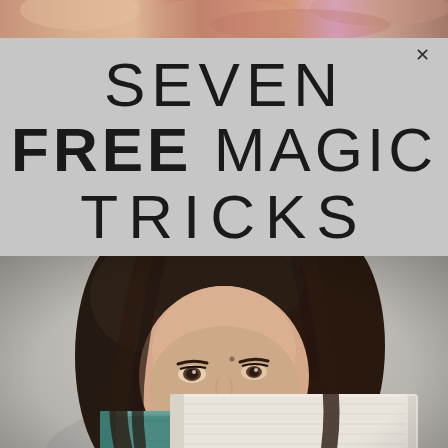[Figure (photo): Top strip showing a colorful blurred image with warm tones]
SEVEN FREE MAGIC TRICKS
[Figure (photo): A young woman with dark hair peering over two stacked books (a teal/green book on bottom, a white/light book on top), photographed against a gray background]